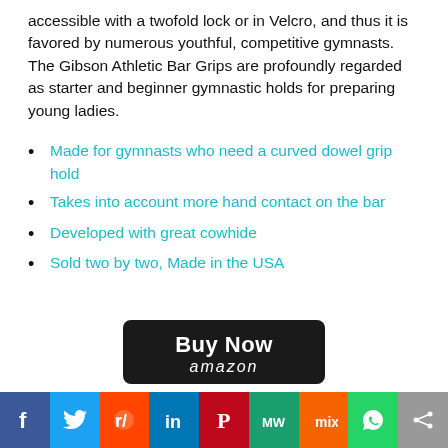accessible with a twofold lock or in Velcro, and thus it is favored by numerous youthful, competitive gymnasts. The Gibson Athletic Bar Grips are profoundly regarded as starter and beginner gymnastic holds for preparing young ladies.
Made for gymnasts who need a curved dowel grip hold
Takes into account more hand contact on the bar
Developed with great cowhide
Sold two by two, Made in the USA
[Figure (other): Buy Now button with Amazon branding on dark background]
[Figure (infographic): Social sharing bar with icons: Facebook, Twitter, Reddit, LinkedIn, Pinterest, MeWe, Mix, WhatsApp, Share]